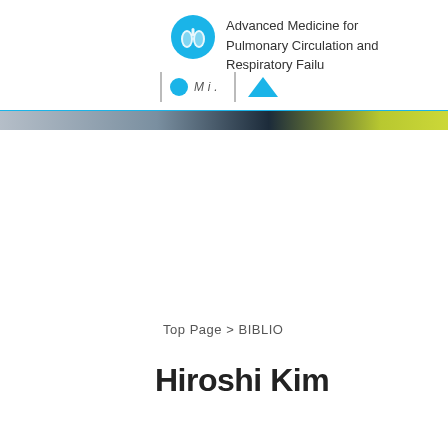Advanced Medicine for Pulmonary Circulation and Respiratory Failure
[Figure (logo): Blue circular lung icon logo for Advanced Medicine for Pulmonary Circulation and Respiratory Failure journal]
[Figure (photo): Navigation bar with blue circle icon, partial text, separator, and blue triangle icon]
[Figure (photo): Decorative image strip showing a dark atmospheric/clinical image with color gradient]
Top Page > BIBLIO
Hiroshi Kim